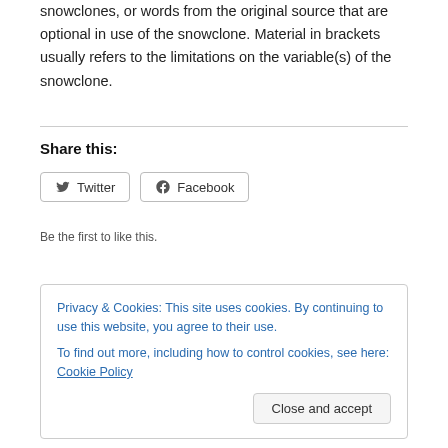snowclones, or words from the original source that are optional in use of the snowclone. Material in brackets usually refers to the limitations on the variable(s) of the snowclone.
Share this:
[Figure (screenshot): Twitter and Facebook share buttons]
[Figure (screenshot): Like button with star icon and 'Be the first to like this.' text]
Privacy & Cookies: This site uses cookies. By continuing to use this website, you agree to their use. To find out more, including how to control cookies, see here: Cookie Policy
Close and accept